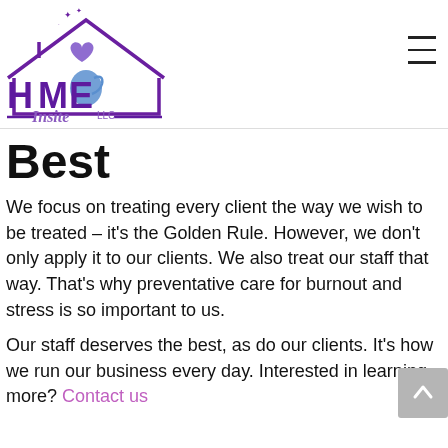[Figure (logo): Home Insite LLC logo with house outline, heart, and dolphin in purple, with script text 'Insite LLC']
Best
We focus on treating every client the way we wish to be treated – it's the Golden Rule. However, we don't only apply it to our clients. We also treat our staff that way. That's why preventative care for burnout and stress is so important to us.
Our staff deserves the best, as do our clients. It's how we run our business every day. Interested in learning more? Contact us